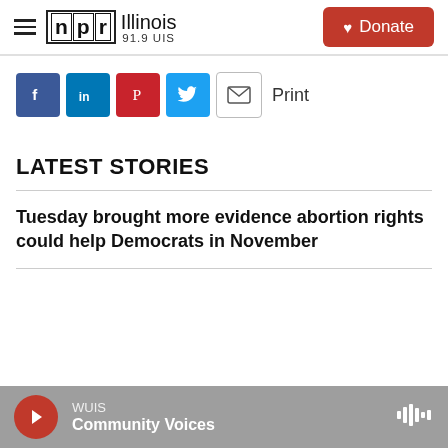[Figure (logo): NPR Illinois 91.9 UIS logo with hamburger menu and Donate button]
[Figure (infographic): Social share buttons: Facebook, LinkedIn, Pinterest, Twitter, Email, and Print label]
LATEST STORIES
Tuesday brought more evidence abortion rights could help Democrats in November
[Figure (infographic): Audio player bar: WUIS Community Voices with red play button and sound wave icon]